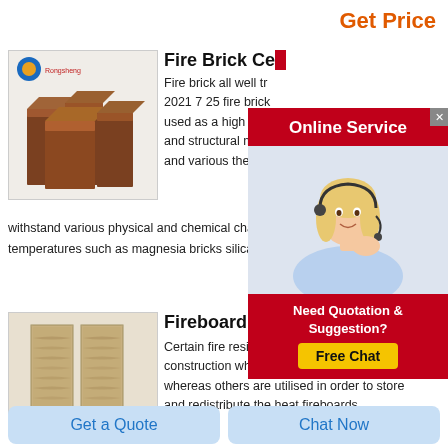Get Price
Fire Brick Ce...
[Figure (photo): Photo of fire bricks stacked together, dark reddish-brown color, with a Rongsheng logo in the upper left]
Fire brick all well tr... 2021 7 25 fire brick used as a high tem and structural mate and various therma withstand various physical and chemical changes and temperatures such as magnesia bricks silica bricks hig
[Figure (screenshot): Online Service popup with red header, customer service lady with headset, and Need Quotation & Suggestion? Free Chat button]
Fireboard
[Figure (photo): Two pieces of fireboard, light tan/beige color with rough texture, standing upright]
Certain fire resistant boards are made for construction where proper insulation is required whereas others are utilised in order to store and redistribute the heat fireboards
Get a Quote
Chat Now